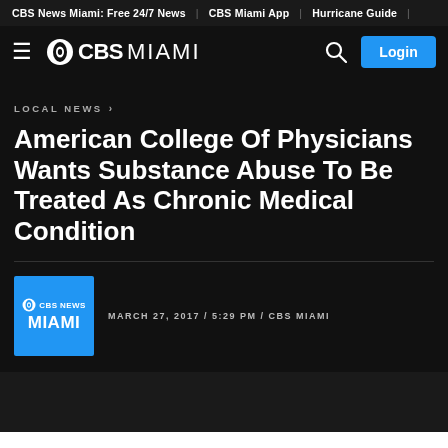CBS News Miami: Free 24/7 News | CBS Miami App | Hurricane Guide |
[Figure (logo): CBS Miami navigation bar with hamburger menu, CBS eye logo, CBS MIAMI text, search icon, and Login button]
LOCAL NEWS >
American College Of Physicians Wants Substance Abuse To Be Treated As Chronic Medical Condition
MARCH 27, 2017 / 5:29 PM / CBS MIAMI
[Figure (logo): CBS News Miami blue square logo]